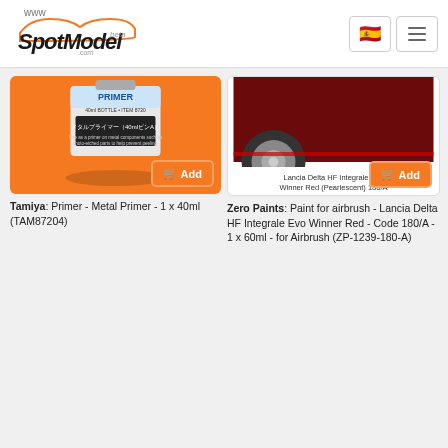SpotModel beta
[Figure (photo): Tamiya Metal Primer bottle product photo on orange background]
Tamiya: Primer - Metal Primer - 1 x 40ml (TAM87204)
[Figure (photo): Lancia Delta HF Integrale Evo Winner Red paint product photo showing car wheel/body, white background, with text 'Lancia Delta HF Integrale Evo Winner Red (Pearlescent) 180/A']
Zero Paints: Paint for airbrush - Lancia Delta HF Integrale Evo Winner Red - Code 180/A - 1 x 60ml - for Airbrush (ZP-1239-180-A)
[Figure (photo): Red circular paint swatch labeled N5-C154 DELTA HF INTEGRALE RED on white background]
[Figure (photo): Martini decal sheet on light blue/teal background with orange border, showing multiple MARTINI logo decals in various sizes]